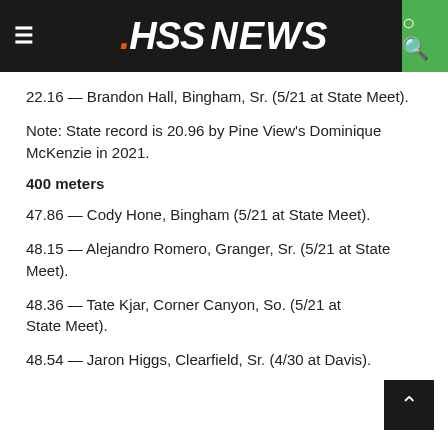.HSS NEWS
22.16 — Brandon Hall, Bingham, Sr. (5/21 at State Meet).
Note: State record is 20.96 by Pine View's Dominique McKenzie in 2021.
400 meters
47.86 — Cody Hone, Bingham (5/21 at State Meet).
48.15 — Alejandro Romero, Granger, Sr. (5/21 at State Meet).
48.36 — Tate Kjar, Corner Canyon, So. (5/21 at State Meet).
48.54 — Jaron Higgs, Clearfield, Sr. (4/30 at Davis).